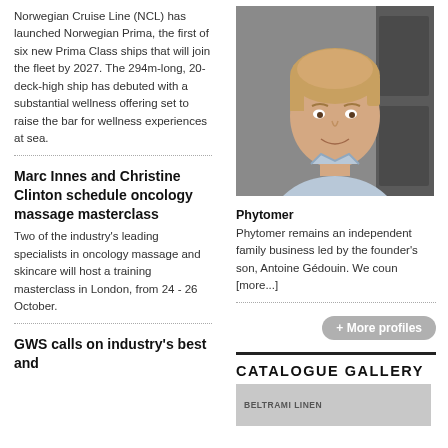Norwegian Cruise Line (NCL) has launched Norwegian Prima, the first of six new Prima Class ships that will join the fleet by 2027. The 294m-long, 20-deck-high ship has debuted with a substantial wellness offering set to raise the bar for wellness experiences at sea.
Marc Innes and Christine Clinton schedule oncology massage masterclass
Two of the industry's leading specialists in oncology massage and skincare will host a training masterclass in London, from 24 - 26 October.
GWS calls on industry's best and
[Figure (photo): Headshot of a smiling young man with light brown hair wearing a light blue shirt, photographed against a dark door background]
Phytomer
Phytomer remains an independent family business led by the founder's son, Antoine Gédouin. We coun [more...]
+ More profiles
CATALOGUE GALLERY
[Figure (other): Beltrami Linen catalogue thumbnail image in grey]